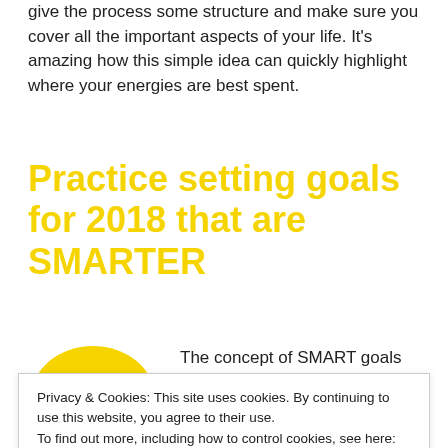give the process some structure and make sure you cover all the important aspects of your life. It's amazing how this simple idea can quickly highlight where your energies are best spent.
Practice setting goals for 2018 that are SMARTER
[Figure (illustration): Yellow circle with a question mark (number 2 style) inside, representing step 2]
The concept of SMART goals (specific, measurable etc)
Privacy & Cookies: This site uses cookies. By continuing to use this website, you agree to their use. To find out more, including how to control cookies, see here: Cookie Policy
personal lives. You can use this simple Smarter